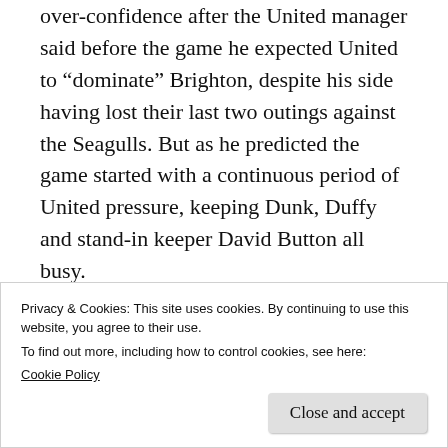over-confidence after the United manager said before the game he expected United to “dominate” Brighton, despite his side having lost their last two outings against the Seagulls. But as he predicted the game started with a continuous period of United pressure, keeping Dunk, Duffy and stand-in keeper David Button all busy.
[Figure (illustration): Partial illustration of a cartoon seagull mascot on a light blue background, showing the top portion with a pink beak/mouth and yellow triangle detail.]
Privacy & Cookies: This site uses cookies. By continuing to use this website, you agree to their use.
To find out more, including how to control cookies, see here:
Cookie Policy